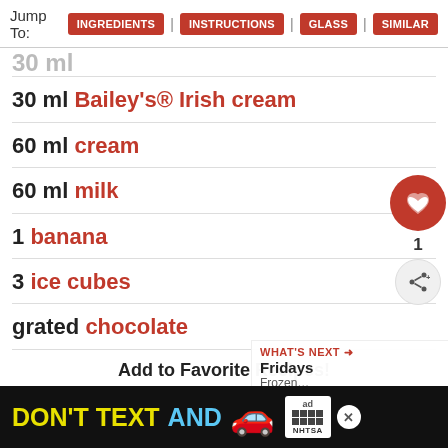Jump To: INGREDIENTS | INSTRUCTIONS | GLASS | SIMILAR
30 ml Bailey's® Irish cream
60 ml cream
60 ml milk
1 banana
3 ice cubes
grated chocolate
Add to Favorite Recipes!
Favorite This in Your Collection
[Figure (screenshot): Advertisement banner: DON'T TEXT AND [car emoji] ad with NHTSA branding]